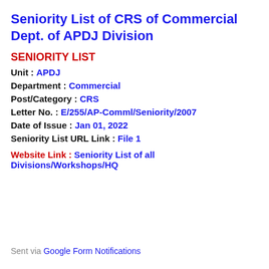Seniority List of CRS of Commercial Dept. of APDJ Division
SENIORITY LIST
Unit : APDJ
Department : Commercial
Post/Category : CRS
Letter No. : E/255/AP-Comml/Seniority/2007
Date of Issue : Jan 01, 2022
Seniority List URL Link : File 1
Website Link : Seniority List of all Divisions/Workshops/HQ
Sent via Google Form Notifications